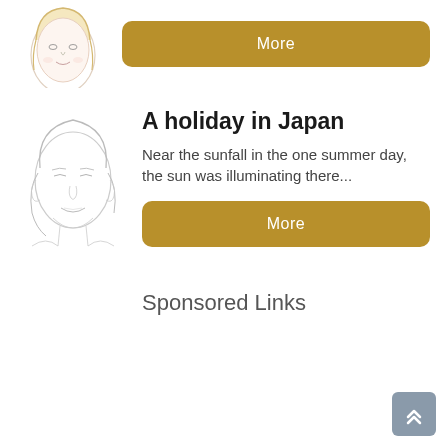[Figure (illustration): Partial illustration of a blonde woman's face/portrait sketch, cropped at top]
More
[Figure (illustration): Line sketch illustration of a person's face/portrait]
A holiday in Japan
Near the sunfall in the one summer day, the sun was illuminating there...
More
Sponsored Links